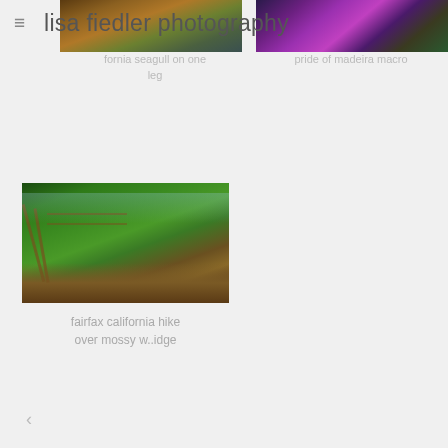lisa fiedler photography
[Figure (photo): Partial view of a California seagull on one leg, warm brown tones]
fornia seagull on one leg
[Figure (photo): Pride of Madeira macro photo showing purple/pink flower close-up]
pride of madeira macro
[Figure (photo): Fairfax California hike over a mossy wooden bridge over lush green forest with stream]
fairfax california hike over mossy w..idge